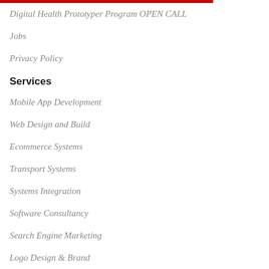Digital Health Prototyper Program OPEN CALL
Jobs
Privacy Policy
Services
Mobile App Development
Web Design and Build
Ecommerce Systems
Transport Systems
Systems Integration
Software Consultancy
Search Engine Marketing
Logo Design & Brand
Content Creation